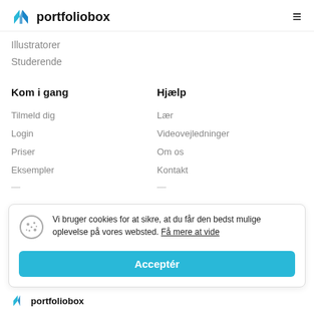portfoliobox
Illustratorer
Studerende
Kom i gang
Hjælp
Tilmeld dig
Lær
Login
Videovejledninger
Priser
Om os
Eksempler
Kontakt
Vi bruger cookies for at sikre, at du får den bedst mulige oplevelse på vores websted. Få mere at vide
Acceptér